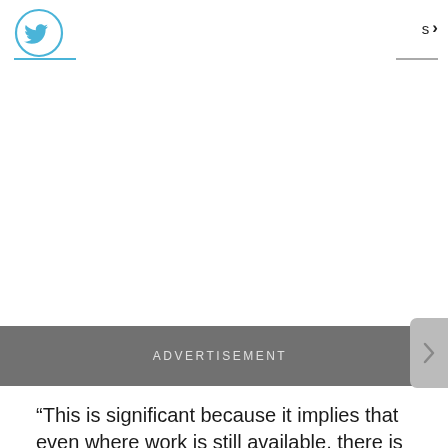s >
[Figure (logo): Twitter bird logo circle icon, blue outline]
ADVERTISEMENT
“This is significant because it implies that even where work is still available, there is